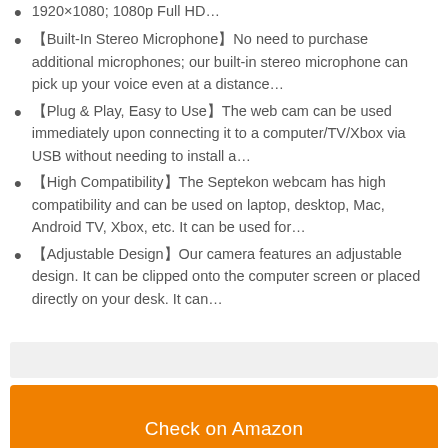1920×1080; 1080p Full HD…
【Built-In Stereo Microphone】No need to purchase additional microphones; our built-in stereo microphone can pick up your voice even at a distance…
【Plug & Play, Easy to Use】The web cam can be used immediately upon connecting it to a computer/TV/Xbox via USB without needing to install a…
【High Compatibility】The Septekon webcam has high compatibility and can be used on laptop, desktop, Mac, Android TV, Xbox, etc. It can be used for…
【Adjustable Design】Our camera features an adjustable design. It can be clipped onto the computer screen or placed directly on your desk. It can…